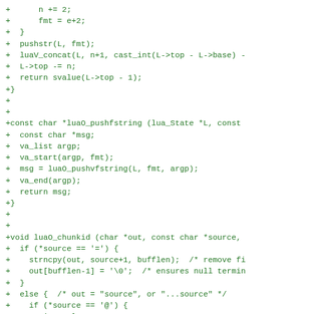Code diff showing C source additions including n += 2, fmt = e+2, pushstr, luaV_concat, L->top, return svalue, luaO_pushfstring function, luaO_chunkid function with if/else branches